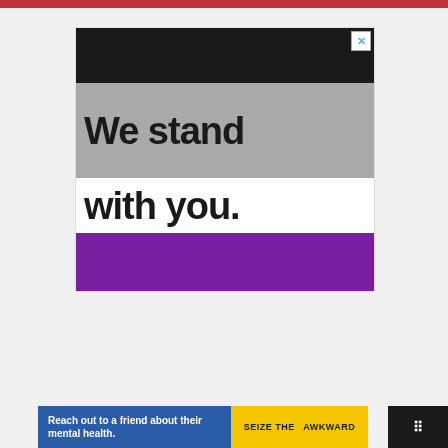[Figure (illustration): Top red banner strip at the very top of the page]
[Figure (illustration): Advertisement banner with asexual pride flag colors (black, gray, white, purple) with large bold text reading 'We stand with you.' and a close X button in the top right corner]
[Figure (illustration): Bottom advertisement bar for 'Seize the Awkward' mental health campaign. Left side is blue with white text 'Reach out to a friend about their mental health.' Center-right is yellow with 'SEIZE THE AWKWARD' text. Far right is dark background with logo dots.]